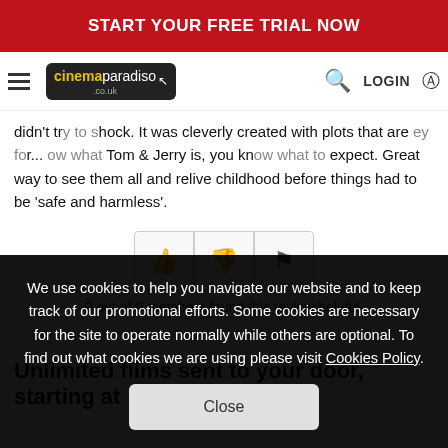START YOUR FREE TRIAL NOW
[Figure (screenshot): Cinema Paradiso website navigation bar with hamburger menu, logo, search icon and LOGIN button]
didn't try to shock. It was cleverly created with plots that are they to... ow what Tom & Jerry is, you know what to expect. Great way to see them all and relive childhood before things had to be 'safe and harmless'.
[Figure (other): Three action buttons: thumbs up, thumbs down, and flag icons]
0 out of 0 members found this review helpful.
Unlimited films sent to your door, starting at
We use cookies to help you navigate our website and to keep track of our promotional efforts. Some cookies are necessary for the site to operate normally while others are optional. To find out what cookies we are using please visit Cookies Policy.